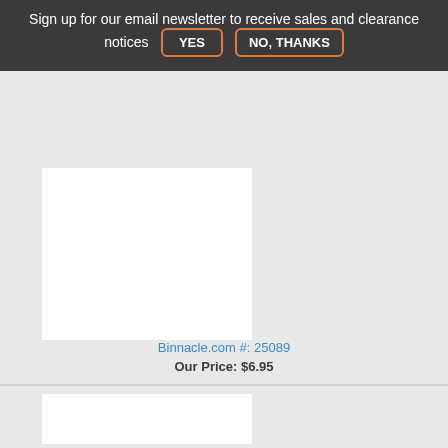Sign up for our email newsletter to receive sales and clearance notices  YES  NO, THANKS
[Figure (photo): Product image placeholder for Blue Sea 2715 Common 150A BusBar Cover (white rectangle on gray background)]
Blue Sea 2715 Common 150A BusBar Cover for 2301 and 2303
Binnacle.com #: 25089
Our Price: $6.95
[Figure (photo): Second product image placeholder (white rectangle on gray background, partially visible)]